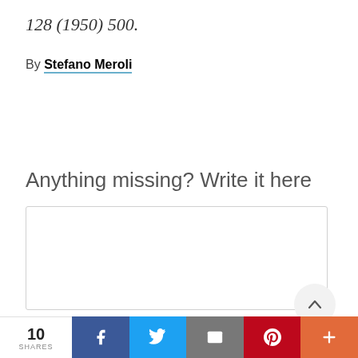128 (1950) 500.
By Stefano Meroli
Anything missing? Write it here
10 SHARES  [Facebook] [Twitter] [Email] [Pinterest] [Plus]